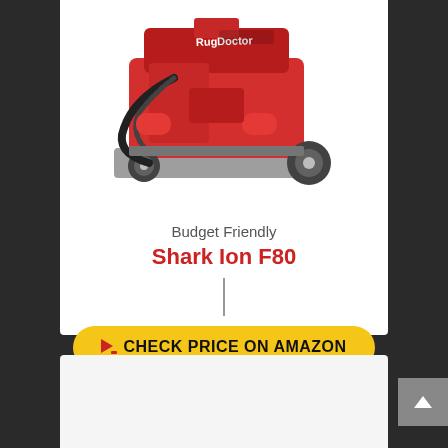[Figure (photo): Red Rug Doctor carpet cleaning machine with black hose, gray base and wheels, shown from front-left angle]
Budget Friendly
Shark Ion F80
CHECK PRICE ON AMAZON
[Figure (photo): Partial view of another product card below, showing beginning of another product image]